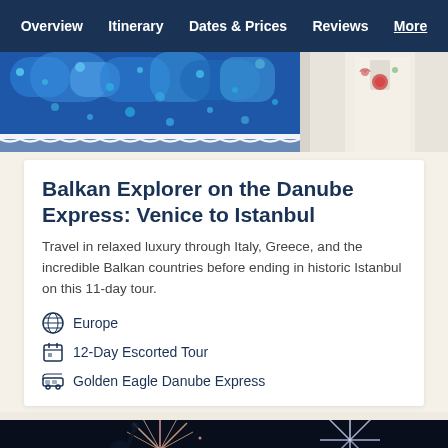Overview  Itinerary  Dates & Prices  Reviews  More
[Figure (photo): Close-up of colorful blue embroidered/beaded traditional folk costume fabric with white lace trim, and a person in white uniform on the right]
Balkan Explorer on the Danube Express: Venice to Istanbul
Travel in relaxed luxury through Italy, Greece, and the incredible Balkan countries before ending in historic Istanbul on this 11-day tour.
Europe
12-Day Escorted Tour
Golden Eagle Danube Express
[Figure (photo): Nighttime fireworks display over a monument silhouette with a Book Now red button overlay]